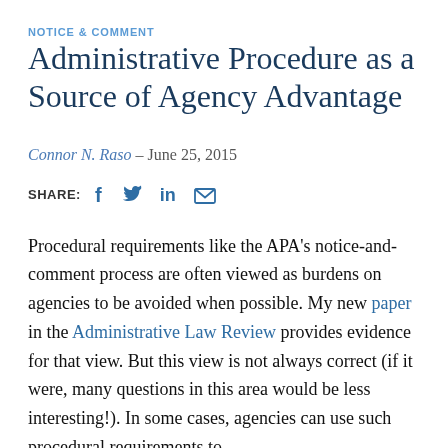NOTICE & COMMENT
Administrative Procedure as a Source of Agency Advantage
Connor N. Raso – June 25, 2015
SHARE: [Facebook] [Twitter] [LinkedIn] [Email]
Procedural requirements like the APA's notice-and-comment process are often viewed as burdens on agencies to be avoided when possible. My new paper in the Administrative Law Review provides evidence for that view. But this view is not always correct (if it were, many questions in this area would be less interesting!). In some cases, agencies can use such procedural requirements to